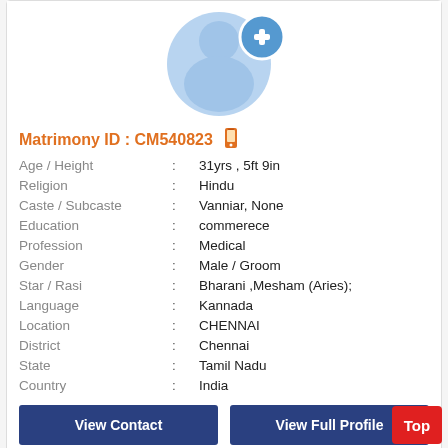[Figure (illustration): Blue silhouette profile icon with a plus sign circle badge, indicating add profile photo]
Matrimony ID : CM540823
| Field | : | Value |
| --- | --- | --- |
| Age / Height | : | 31yrs , 5ft 9in |
| Religion | : | Hindu |
| Caste / Subcaste | : | Vanniar, None |
| Education | : | commerece |
| Profession | : | Medical |
| Gender | : | Male / Groom |
| Star / Rasi | : | Bharani ,Mesham (Aries); |
| Language | : | Kannada |
| Location | : | CHENNAI |
| District | : | Chennai |
| State | : | Tamil Nadu |
| Country | : | India |
View Contact | View Full Profile